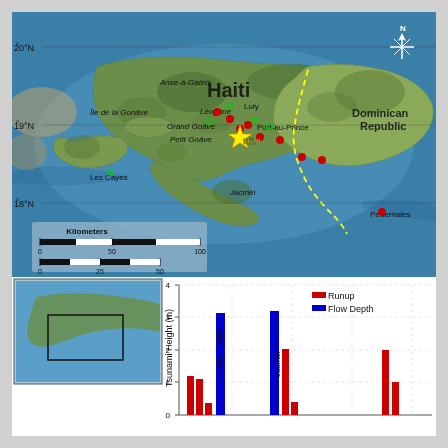[Figure (map): Topographic/bathymetric map of Haiti and surrounding region showing earthquake epicenter (yellow star labeled M7.0), red circles for tsunami observation sites, green squares for coastal cities, yellow dashed line for Haiti-Dominican Republic border. Cities labeled: Île de la Gonâve, Anse-à-Galets, Luly, Léogâne, Grand Goâve, Petit Goâve, Port-au-Prince, Les Cayes, Jacmel, Pedernales. Latitude lines at 18°N, 19°N, 20°N. Scale bar in Kilometers (0-50-100) and Miles (0-25-50). North star compass in upper right.]
[Figure (grouped-bar-chart): Bar chart showing tsunami runup (red) and flow depth (blue) heights in meters at various locations including Grand Goâve and Jacmel. Y-axis from 0 to 4 meters. Inset map shows location context. Legend shows Runup (red) and Flow Depth (blue).]